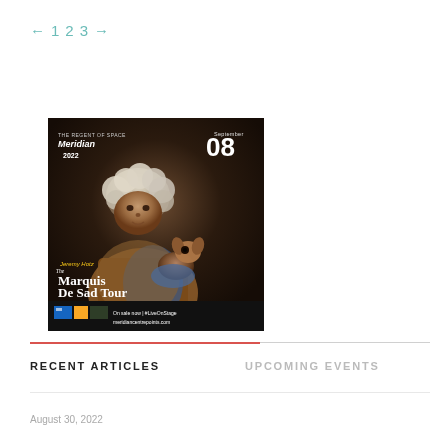← 1 2 3 →
[Figure (photo): Event poster for Jeremy Hotz 'The Marquis De Sad Tour' at Meridian 2022, September 08. Shows a man with curly white hair holding a small dog, with show details and meridiancentrepoints.com website.]
RECENT ARTICLES
UPCOMING EVENTS
August 30, 2022